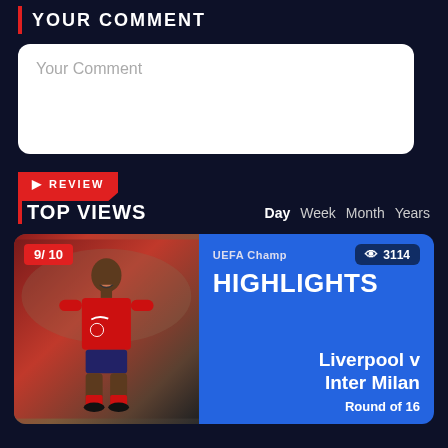YOUR COMMENT
Your Comment
REVIEW
TOP VIEWS
Day Week Month Years
[Figure (photo): Sports highlights card showing a Liverpool player in red kit, UEFA Champions League Highlights, Liverpool v Inter Milan, Round of 16, score 9/10, views 3114]
9/10
UEFA Champ
3114
HIGHLIGHTS
Liverpool v Inter Milan
Round of 16